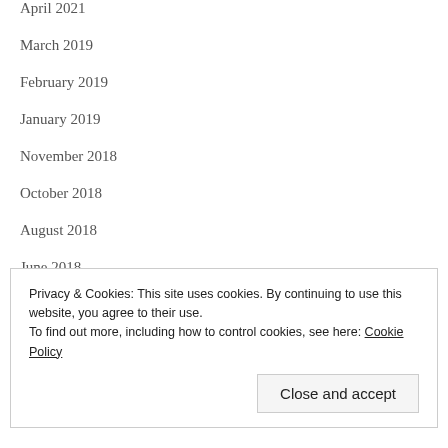April 2021
March 2019
February 2019
January 2019
November 2018
October 2018
August 2018
June 2018
March 2018
February 2018
December 2017
November 2017
Privacy & Cookies: This site uses cookies. By continuing to use this website, you agree to their use. To find out more, including how to control cookies, see here: Cookie Policy
Close and accept